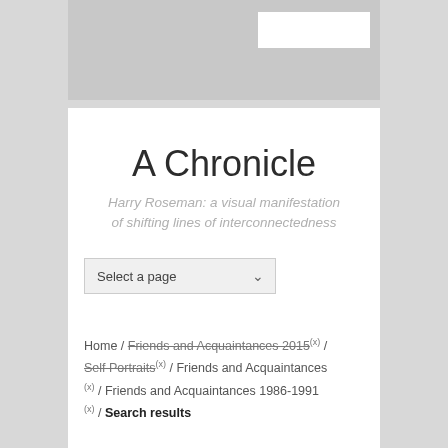A Chronicle
Harry Roseman: a visual manifestation of shifting lines of interconnectedness
Select a page
Home / Friends and Acquaintances 2015 (x) / Self Portraits (x) / Friends and Acquaintances (x) / Friends and Acquaintances 1986-1991 (x) / Search results